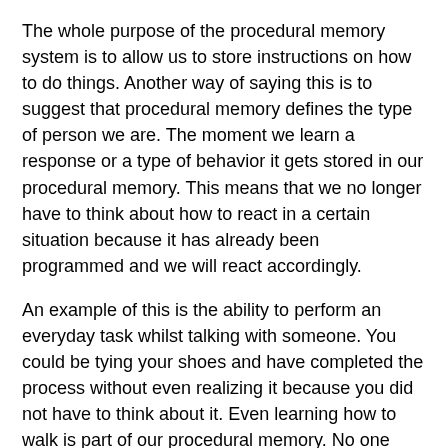The whole purpose of the procedural memory system is to allow us to store instructions on how to do things. Another way of saying this is to suggest that procedural memory defines the type of person we are. The moment we learn a response or a type of behavior it gets stored in our procedural memory. This means that we no longer have to think about how to react in a certain situation because it has already been programmed and we will react accordingly.
An example of this is the ability to perform an everyday task whilst talking with someone. You could be tying your shoes and have completed the process without even realizing it because you did not have to think about it. Even learning how to walk is part of our procedural memory. No one remembers when or how they learned to walk nor do they need to because it is an automatic response once we get to our feet.
The Difficulties of Change
It is difficult to alter our procedural memories because we have to make ourselves consciously aware. The fact that this type of memory is so resistant to change is a good